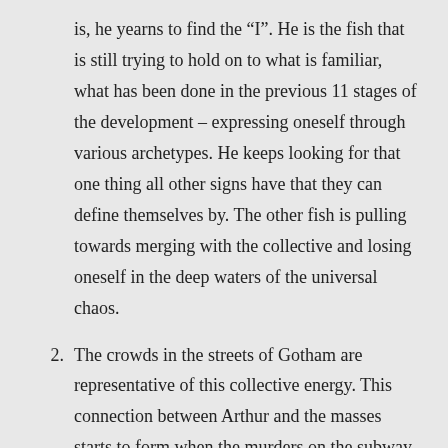is, he yearns to find the “I”. He is the fish that is still trying to hold on to what is familiar, what has been done in the previous 11 stages of the development – expressing oneself through various archetypes. He keeps looking for that one thing all other signs have that they can define themselves by. The other fish is pulling towards merging with the collective and losing oneself in the deep waters of the universal chaos.
2. The crowds in the streets of Gotham are representative of this collective energy. This connection between Arthur and the masses starts to form when the murders on the subway get public approval – the merging has begun. The sign someone holds up during the protest meeting –